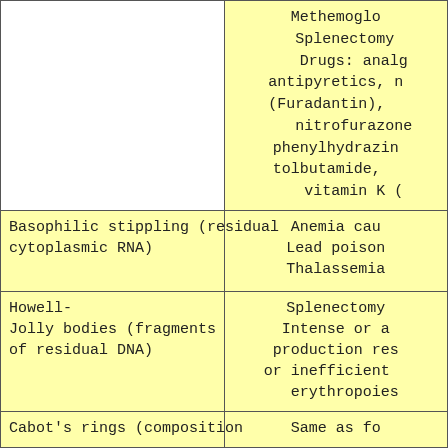| Finding | Associated Conditions |
| --- | --- |
| (continued from previous) | Methemoglobinemia
Splenectomy
Drugs: analgesics, antipyretics, nitrofurantoin (Furadantin), nitrofurazone, phenylhydrazine, tolbutamide, vitamin K (… |
| Basophilic stippling (residual cytoplasmic RNA) | Anemia caused by…
Lead poisoning
Thalassemia |
| Howell-Jolly bodies (fragments of residual DNA) | Splenectomy
Intense or accelerated production resulting in or inefficient erythropoiesis |
| Cabot's rings (composition… | Same as fo… |